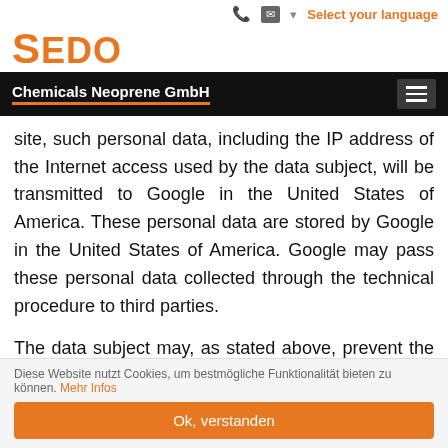Select your language
[Figure (logo): SEDO Chemicals Neoprene GmbH logo with orange text on black navigation bar]
site, such personal data, including the IP address of the Internet access used by the data subject, will be transmitted to Google in the United States of America. These personal data are stored by Google in the United States of America. Google may pass these personal data collected through the technical procedure to third parties.
The data subject may, as stated above, prevent the setting of cookies through our website at any time by
Diese Website nutzt Cookies, um bestmögliche Funktionalität bieten zu können. Mehr Infos
Ok, verstanden